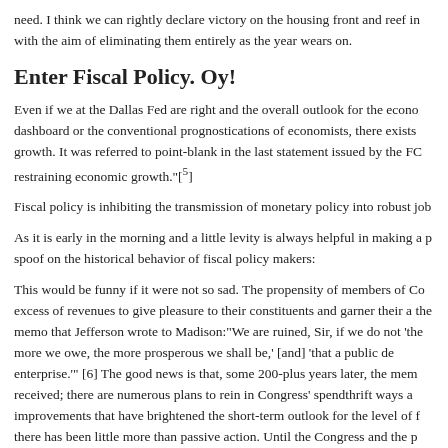need. I think we can rightly declare victory on the housing front and reef in with the aim of eliminating them entirely as the year wears on.
Enter Fiscal Policy. Oy!
Even if we at the Dallas Fed are right and the overall outlook for the econo dashboard or the conventional prognostications of economists, there exists growth. It was referred to point-blank in the last statement issued by the FC restraining economic growth."[5]
Fiscal policy is inhibiting the transmission of monetary policy into robust job
As it is early in the morning and a little levity is always helpful in making a p spoof on the historical behavior of fiscal policy makers:
This would be funny if it were not so sad. The propensity of members of Co excess of revenues to give pleasure to their constituents and garner their a the memo that Jefferson wrote to Madison:"We are ruined, Sir, if we do not 'the more we owe, the more prosperous we shall be,' [and] 'that a public de enterprise.'" [6] The good news is that, some 200-plus years later, the mem received; there are numerous plans to rein in Congress' spendthrift ways a improvements that have brightened the short-term outlook for the level of f there has been little more than passive action. Until the Congress and the p map as to how fiscal rectitude will be implemented, this lack of credible det